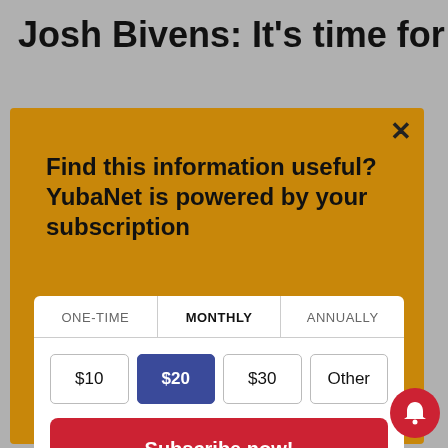Josh Bivens: It's time for
Find this information useful? YubaNet is powered by your subscription
| ONE-TIME | MONTHLY | ANNUALLY |
| --- | --- | --- |
| $10 | $20 (selected) | $30 | Other |
Subscribe now!